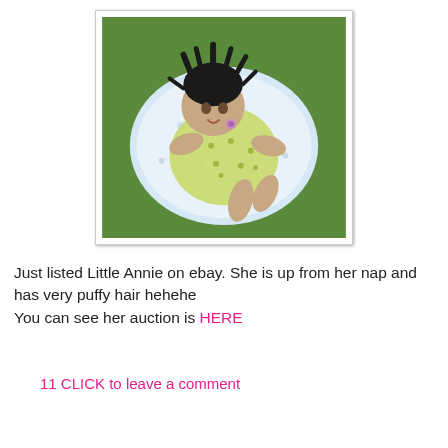[Figure (photo): A baby doll with dark puffy hair wearing a yellow polka-dot dress, lying in a white cushioned seat/bouncer, photographed outdoors on green grass.]
Just listed Little Annie on ebay. She is up from her nap and has very puffy hair hehehe
You can see her auction is HERE
11 CLICK to leave a comment
Share